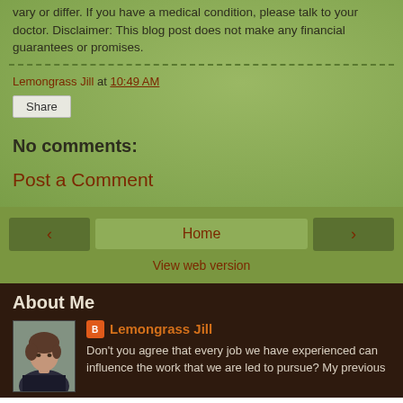vary or differ. If you have a medical condition, please talk to your doctor. Disclaimer: This blog post does not make any financial guarantees or promises.
Lemongrass Jill at 10:49 AM
Share
No comments:
Post a Comment
< Home >
View web version
About Me
[Figure (photo): Profile photo of Lemongrass Jill, a woman with short hair]
Lemongrass Jill
Don't you agree that every job we have experienced can influence the work that we are led to pursue? My previous